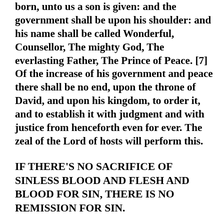born, unto us a son is given: and the government shall be upon his shoulder: and his name shall be called Wonderful, Counsellor, The mighty God, The everlasting Father, The Prince of Peace. [7] Of the increase of his government and peace there shall be no end, upon the throne of David, and upon his kingdom, to order it, and to establish it with judgment and with justice from henceforth even for ever. The zeal of the Lord of hosts will perform this.
IF THERE'S NO SACRIFICE OF SINLESS BLOOD AND FLESH AND BLOOD FOR SIN, THERE IS NO REMISSION FOR SIN.